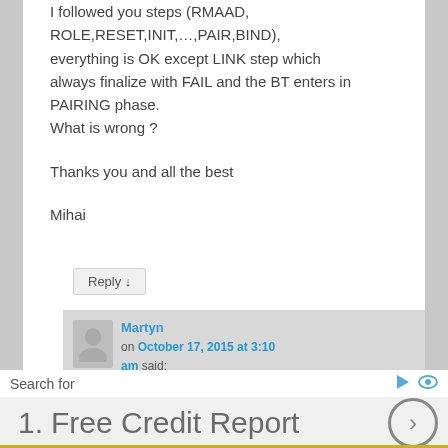I followed you steps (RMAAD, ROLE,RESET,INIT,...,PAIR,BIND), everything is OK except LINK step which always finalize with FAIL and the BT enters in PAIRING phase.
What is wrong ?

Thanks you and all the best

Mihai
Reply ↓
Martyn on October 17, 2015 at 3:10 am said:
Search for
1.  Free Credit Report